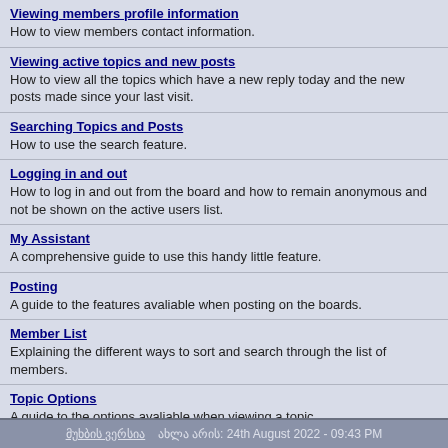Viewing members profile information
How to view members contact information.
Viewing active topics and new posts
How to view all the topics which have a new reply today and the new posts made since your last visit.
Searching Topics and Posts
How to use the search feature.
Logging in and out
How to log in and out from the board and how to remain anonymous and not be shown on the active users list.
My Assistant
A comprehensive guide to use this handy little feature.
Posting
A guide to the features avaliable when posting on the boards.
Member List
Explaining the different ways to sort and search through the list of members.
Topic Options
A guide to the options avaliable when viewing a topic.
Calendar
More information on the boards calendar feature.
მუხბის ვერსია   ახლა არის: 24th August 2022 - 09:43 PM